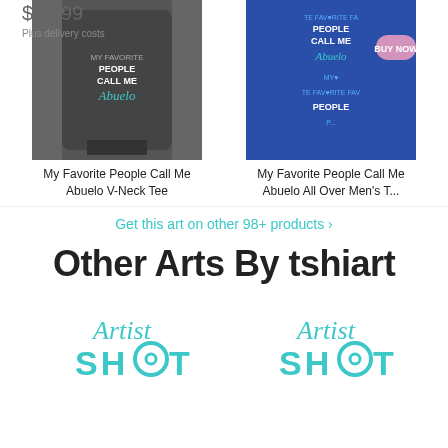[Figure (photo): Two product images: a dark gray V-Neck Tee and a blue All Over Men's T-shirt, both with 'My Favorite People Call Me Abuelo' text design. Price $52.99 shown top-left. BUY NOW pink button top-right.]
$52.99
Plus delivery costs
My Favorite People Call Me Abuelo V-Neck Tee
My Favorite People Call Me Abuelo All Over Men's T...
Get this art on other 98+ products >
Other Arts By tshiart
[Figure (logo): Artist Shot logo in teal/cyan color - script 'Artist' above bold 'SHOT' with circular target icon replacing the O]
[Figure (logo): Artist Shot logo in teal/cyan color - script 'Artist' above bold 'SHOT' with circular target icon replacing the O]